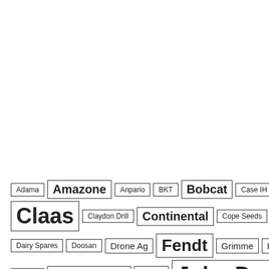TAG CLOUD
[Figure (infographic): Tag cloud showing agricultural and equipment brand names at varying font sizes indicating popularity/frequency. Brands include: Adama, Amazone, Anpario, BKT, Bobcat, Case IH, Claas, Claydon Drill, Continental, Cope Seeds, Corteva, Dairy Spares, Doosan, Drone Ag, Fendt, Grimme, Hella, Horsch, Hutchinsons, JCB, John Deere, Krone]